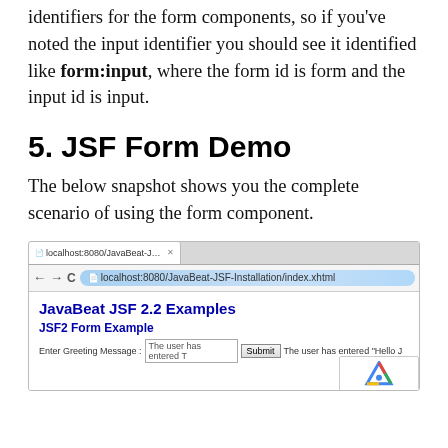identifiers for the form components, so if you've noted the input identifier you should see it identified like form:input, where the form id is form and the input id is input.
5. JSF Form Demo
The below snapshot shows you the complete scenario of using the form component.
[Figure (screenshot): Browser screenshot showing localhost:8080/JavaBeat-JSF-Installation/index.xhtml with JavaBeat JSF 2.2 Examples page, JSF2 Form Example section, and a form with an input box, Submit button, and result text.]